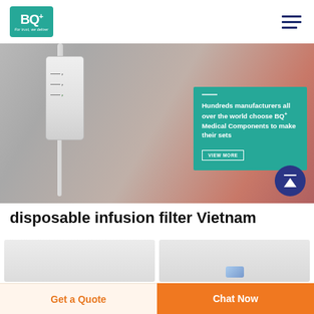[Figure (logo): BQ+ Medical logo - teal/green square with BQ+ text and tagline 'For trust, we deliver']
[Figure (photo): Hero banner showing close-up of IV infusion drip chamber and tubing, with a teal overlay box containing text about BQ+ Medical Components and a VIEW MORE button]
Hundreds manufacturers all over the world choose BQ+ Medical Components to make their sets
disposable infusion filter Vietnam
[Figure (photo): Two product thumbnail images showing disposable infusion filter components]
Get a Quote
Chat Now